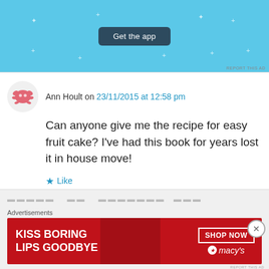[Figure (screenshot): Light blue ad banner with 'Get the app' dark button and sparkle decorations, REPORT THIS AD text bottom right]
Ann Hoult on 23/11/2015 at 12:58 pm
Can anyone give me the recipe for easy fruit cake? I've had this book for years lost it in house move!
★ Like
↵ Reply
[Figure (screenshot): Macy's ad: KISS BORING LIPS GOODBYE with red lips image, SHOP NOW button, macys star logo on red background]